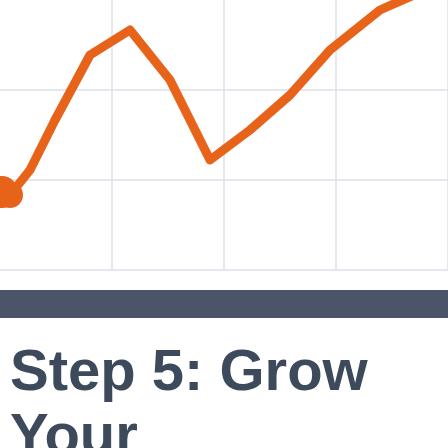[Figure (other): Partial view of an orange line chart with circular data point markers on a white background with light gray grid lines. The line rises steeply to the right side of the chart and shows a dip in the middle. Only the upper portion of the chart is visible, cropped at the bottom.]
Step 5: Grow Your Business